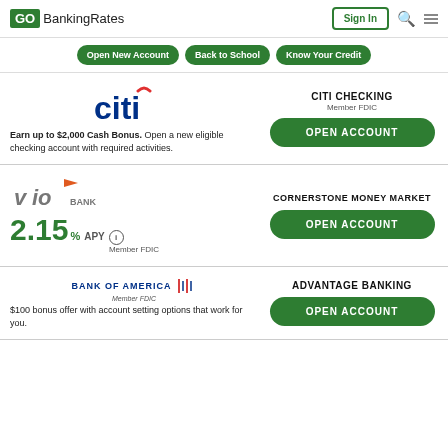GoBankingRates
Open New Account
Back to School
Know Your Credit
[Figure (logo): Citi bank logo]
Earn up to $2,000 Cash Bonus. Open a new eligible checking account with required activities.
CITI CHECKING
Member FDIC
OPEN ACCOUNT
[Figure (logo): Vio Bank logo with 2.15% APY]
CORNERSTONE MONEY MARKET
OPEN ACCOUNT
[Figure (logo): Bank of America logo]
$100 bonus offer with account setting options that work for you.
ADVANTAGE BANKING
OPEN ACCOUNT